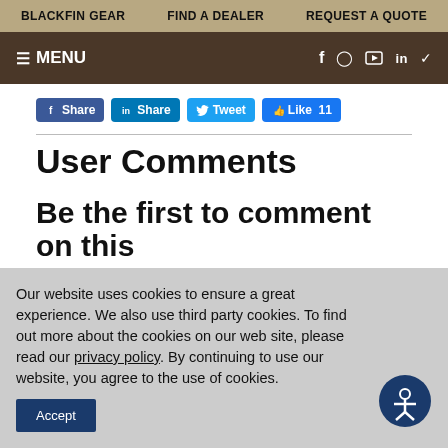BLACKFIN GEAR | FIND A DEALER | REQUEST A QUOTE
≡ MENU  [social icons: Facebook, Instagram, YouTube, LinkedIn, Twitter]
[Figure (infographic): Social share buttons: Facebook Share, LinkedIn Share, Twitter Tweet, Like 11]
User Comments
Be the first to comment on this
Our website uses cookies to ensure a great experience. We also use third party cookies. To find out more about the cookies on our web site, please read our privacy policy. By continuing to use our website, you agree to the use of cookies.